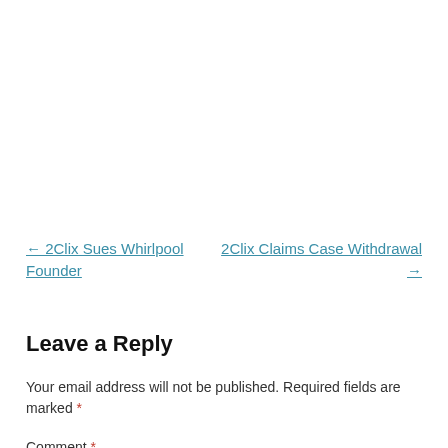← 2Clix Sues Whirlpool Founder
2Clix Claims Case Withdrawal →
Leave a Reply
Your email address will not be published. Required fields are marked *
Comment *